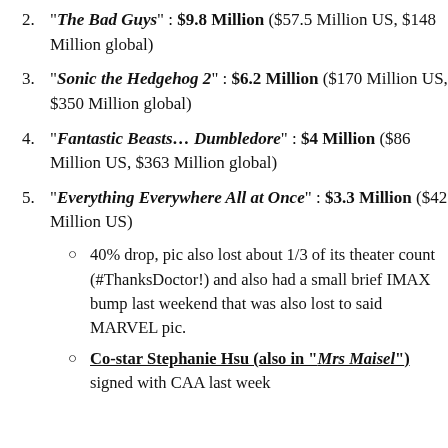"The Bad Guys" : $9.8 Million ($57.5 Million US, $148 Million global)
"Sonic the Hedgehog 2" : $6.2 Million ($170 Million US, $350 Million global)
"Fantastic Beasts... Dumbledore" : $4 Million ($86 Million US, $363 Million global)
"Everything Everywhere All at Once" : $3.3 Million ($42 Million US)
40% drop, pic also lost about 1/3 of its theater count (#ThanksDoctor!) and also had a small brief IMAX bump last weekend that was also lost to said MARVEL pic.
Co-star Stephanie Hsu (also in "Mrs Maisel") signed with CAA last week